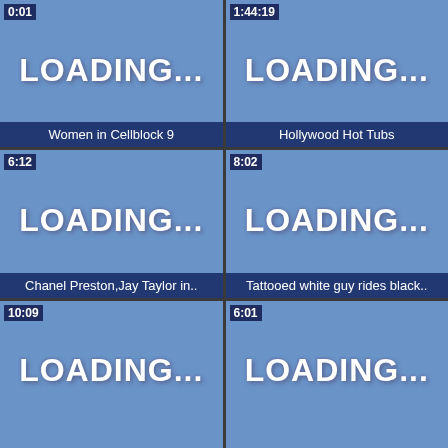[Figure (screenshot): Video thumbnail grid showing 6 loading video cells, each with a timestamp, LOADING... text, and some with title bars at the bottom. Cell 1: timestamp 0:01, title 'Women in Cellblock 9'. Cell 2: timestamp 1:44:19, title 'Hollywood Hot Tubs'. Cell 3: timestamp 6:12, title 'Chanel Preston,Jay Taylor in..'. Cell 4: timestamp 8:02, title 'Tattooed white guy rides black..'. Cell 5: timestamp 10:09, no title visible. Cell 6: timestamp 6:01, no title visible.]